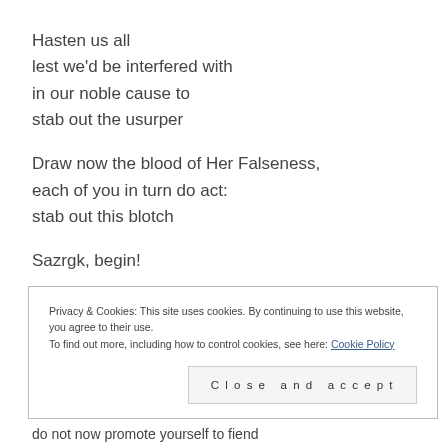Hasten us all
lest we'd be interfered with
in our noble cause to
stab out the usurper
Draw now the blood of Her Falseness,
each of you in turn do act:
stab out this blotch
Sazrgk, begin!
Privacy & Cookies: This site uses cookies. By continuing to use this website, you agree to their use.
To find out more, including how to control cookies, see here: Cookie Policy
Close and accept
do not now promote yourself to fiend